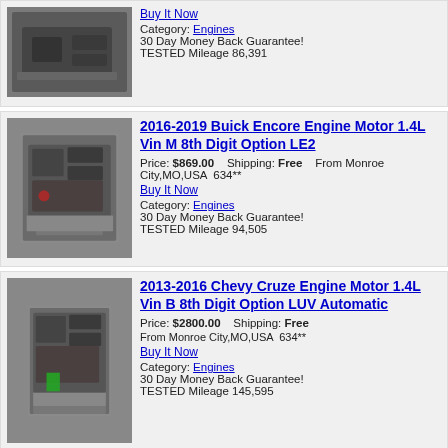[Figure (photo): Partial view of a car engine listing with Buy It Now link, Category Engines, 30 Day Money Back Guarantee, TESTED Mileage 86,391]
Buy It Now
Category: Engines
30 Day Money Back Guarantee!
TESTED Mileage 86,391
[Figure (photo): 2016-2019 Buick Encore Engine Motor 1.4L Vin M 8th Digit Option LE2 - car engine on wooden pallet]
2016-2019 Buick Encore Engine Motor 1.4L Vin M 8th Digit Option LE2
Price: $869.00  Shipping: Free  From Monroe City,MO,USA  634**
Buy It Now
Category: Engines
30 Day Money Back Guarantee!
TESTED Mileage 94,505
[Figure (photo): 2013-2016 Chevy Cruze Engine Motor 1.4L Vin B 8th Digit Option LUV Automatic - car engine on wooden pallet]
2013-2016 Chevy Cruze Engine Motor 1.4L Vin B 8th Digit Option LUV Automatic
Price: $2800.00  Shipping: Free
From Monroe City,MO,USA  634**
Buy It Now
Category: Engines
30 Day Money Back Guarantee!
TESTED Mileage 145,595